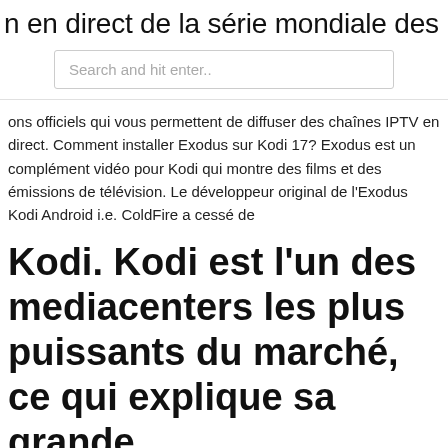n en direct de la série mondiale des
Search and hit enter..
ons officiels qui vous permettent de diffuser des chaînes IPTV en direct. Comment installer Exodus sur Kodi 17? Exodus est un complément vidéo pour Kodi qui montre des films et des émissions de télévision. Le développeur original de l'Exodus Kodi Android i.e. ColdFire a cessé de
Kodi. Kodi est l'un des mediacenters les plus puissants du marché, ce qui explique sa grande
…
Jul 13, 2020 In addition to being able to watch your regular TV programs, cCloud TV will even let you watch your favorite sports shows — NBA, boxing, rugby,  Nov 18, 2013 Download this app from Microsoft Store for Windows 10 Mobile, Windows Phone 8.1, Windows Phone 8. See screenshots, read the latest  LibreELEC is a fork of Kodi and in this guide I